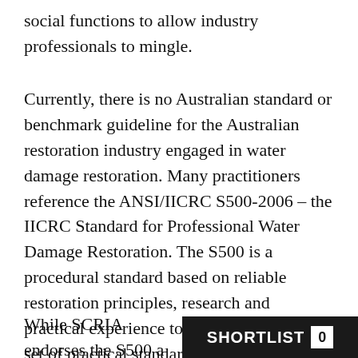social functions to allow industry professionals to mingle.
Currently, there is no Australian standard or benchmark guideline for the Australian restoration industry engaged in water damage restoration. Many practitioners reference the ANSI/IICRC S500-2006 – the IICRC Standard for Professional Water Damage Restoration. The S500 is a procedural standard based on reliable restoration principles, research and practical experience to provide a specific set of practical standards for water damage restoration. This is accepted as global best practice in lieu of any specific Australian standard or guideline.
While SCRIA endorses the S500 as global practice guidelines for wa...